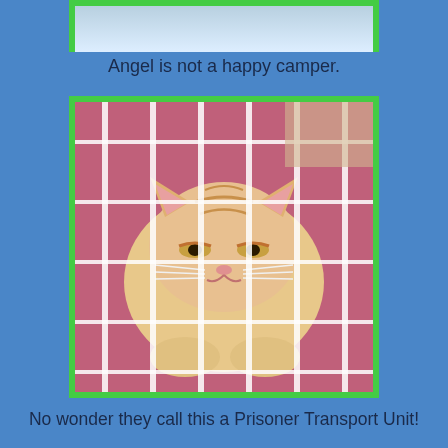[Figure (photo): Orange/cream cat inside a pink pet carrier with white wire grid door, looking grumpy or unhappy through the bars]
Angel is not a happy camper.
No wonder they call this a Prisoner Transport Unit!
Last Saturday Mom took Angel and his mom (who is a person with a disability) to the vet as his asthma was acting up a bit.  Dr. Mindy took a picture of his lungs and they were filled with fluid so he got stabbed